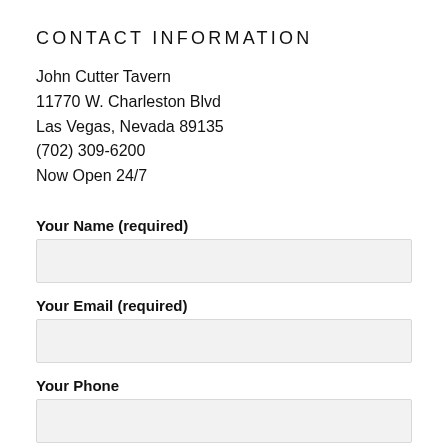CONTACT INFORMATION
John Cutter Tavern
11770 W. Charleston Blvd
Las Vegas, Nevada 89135
(702) 309-6200
Now Open 24/7
Your Name (required)
Your Email (required)
Your Phone